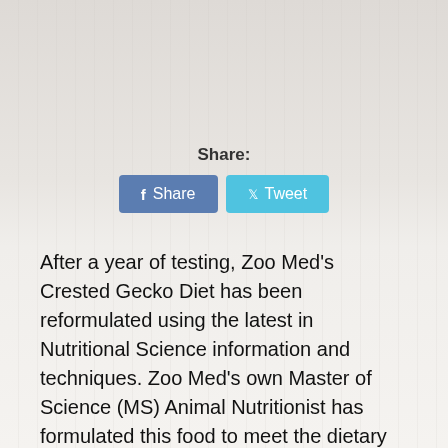Share:
[Figure (other): Social share buttons: Facebook Share button (blue-grey) and Tweet button (light blue)]
After a year of testing, Zoo Med's Crested Gecko Diet has been reformulated using the latest in Nutritional Science information and techniques. Zoo Med's own Master of Science (MS) Animal Nutritionist has formulated this food to meet the dietary requirements of Crested Geckos in all life stages. To help maintain digestive health a source of four different viable, naturally occuring microorganisims has been added to this